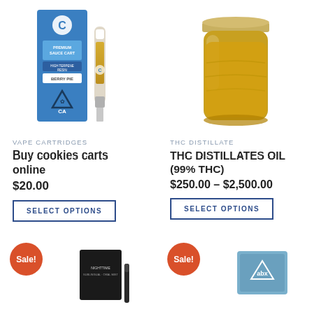[Figure (photo): Cookies brand premium sauce vape cartridge with blue packaging showing 'PREMIUM SAUCE CART', 'HIGH TERPENE RESIN', 'BERRY PIE', CA cannabis warning symbol, and a vape cartridge next to the box]
[Figure (photo): Glass mason jar filled with amber/yellow THC distillate oil with a gold metal lid]
VAPE CARTRIDGES
Buy cookies carts online
$20.00
SELECT OPTIONS
THC DISTILLATE
THC DISTILLATES OIL (99% THC)
$250.00 – $2,500.00
SELECT OPTIONS
[Figure (photo): Sale badge and black vape pen product in bottom left]
[Figure (photo): Sale badge and ABX branded product in bottom right]